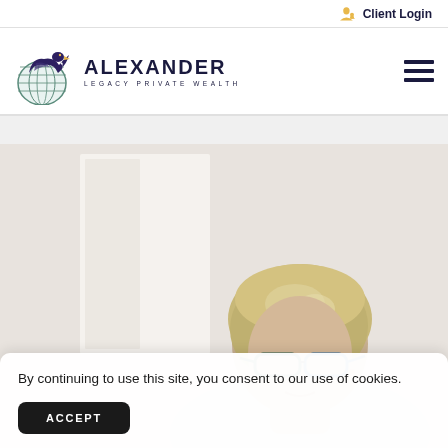Client Login
[Figure (logo): Alexander Legacy Private Wealth logo — eagle with globe icon and company name text]
[Figure (photo): Middle-aged woman with short blonde hair and blue-green glasses, looking downward, light background]
By continuing to use this site, you consent to our use of cookies.
ACCEPT